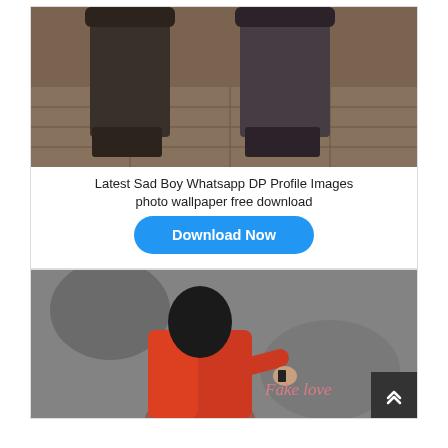[Figure (photo): Photo of two people's legs and feet wearing dark pants/jeans standing on a concrete/stone pavement, brownish-dark toned with vintage filter]
Latest Sad Boy Whatsapp DP Profile Images photo wallpaper free download
Download Now
[Figure (photo): Back view of a person wearing a red/orange jacket in black and white background, with 'Fake love' text overlay in pink/red italic font in the bottom right]